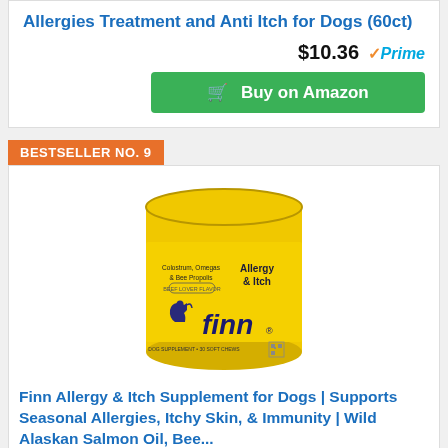Allergies Treatment and Anti Itch for Dogs (60ct)
$10.36 ✓Prime
Buy on Amazon
BESTSELLER NO. 9
[Figure (photo): Yellow tin can of Finn Allergy & Itch dog supplement with 'Allergy & Itch' text, featuring 'Colostrum, Omegas & Bee Propolis' and 'Beef Lover Flavor' label, with finn logo featuring a dog silhouette.]
Finn Allergy & Itch Supplement for Dogs | Supports Seasonal Allergies, Itchy Skin, & Immunity | Wild Alaskan Salmon Oil, Bee...